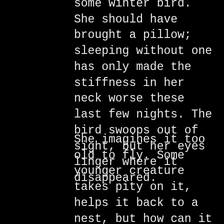some winter bird. She should have brought a pillow; sleeping without one has only made the stiffness in her neck worse these last few nights. The bird swoops out of sight, but her eyes linger where it disappeared.
She imagines it too old to fly. Some younger creature takes pity on it, helps it back to a nest, but how can it tolerate never leaving again?
“You’re no bird, Molly,” she mumbles. It’s the fourth day and she isn’t meant to be here anyway. She gets up, moving slow, bones creaky like closing doors. Packs her backpack again. Clothes. Notebook. Sleeping bag and blanket. Jacket. Hat.
She leaves the lookout tower just the way she found it, though she’s come to realize as long as nothing is overtly